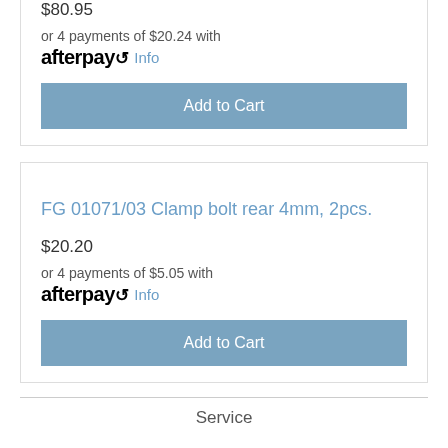$80.95
or 4 payments of $20.24 with
afterpay  Info
Add to Cart
FG 01071/03 Clamp bolt rear 4mm, 2pcs.
$20.20
or 4 payments of $5.05 with
afterpay  Info
Add to Cart
Service